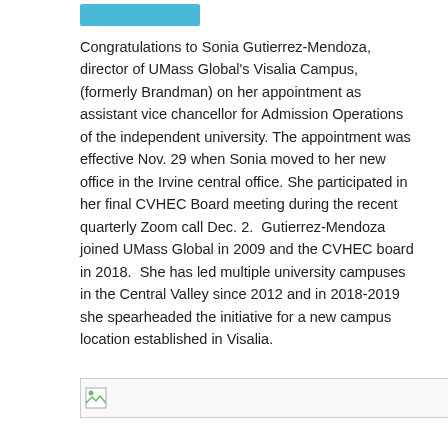Congratulations to Sonia Gutierrez-Mendoza, director of UMass Global's Visalia Campus, (formerly Brandman) on her appointment as assistant vice chancellor for Admission Operations of the independent university. The appointment was effective Nov. 29 when Sonia moved to her new office in the Irvine central office. She participated in her final CVHEC Board meeting during the recent quarterly Zoom call Dec. 2.  Gutierrez-Mendoza joined UMass Global in 2009 and the CVHEC board in 2018.  She has led multiple university campuses in the Central Valley since 2012 and in 2018-2019 she spearheaded the initiative for a new campus location established in Visalia.
[Figure (photo): Broken image placeholder with border line at bottom of page]